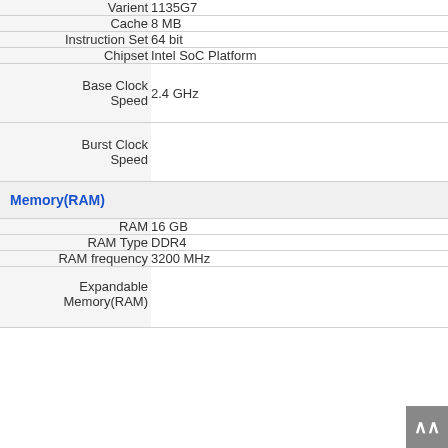| Property | Value |
| --- | --- |
| Varient | 1135G7 |
| Cache | 8 MB |
| Instruction Set | 64 bit |
| Chipset | Intel SoC Platform |
| Base Clock Speed | 2.4 GHz |
| Burst Clock Speed |  |
| Memory(RAM) |  |
| RAM | 16 GB |
| RAM Type | DDR4 |
| RAM frequency | 3200 MHz |
| Expandable Memory(RAM) |  |